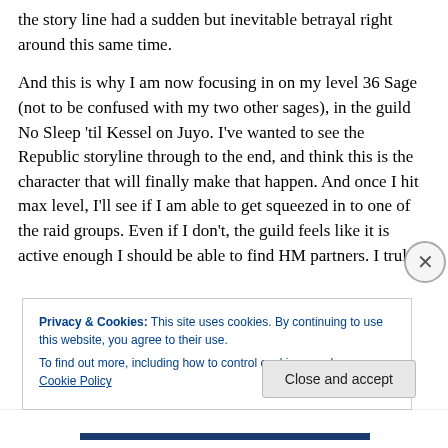the story line had a sudden but inevitable betrayal right around this same time.

And this is why I am now focusing in on my level 36 Sage (not to be confused with my two other sages), in the guild No Sleep 'til Kessel on Juyo. I've wanted to see the Republic storyline through to the end, and think this is the character that will finally make that happen. And once I hit max level, I'll see if I am able to get squeezed in to one of the raid groups. Even if I don't, the guild feels like it is active enough I should be able to find HM partners. I truly
Privacy & Cookies: This site uses cookies. By continuing to use this website, you agree to their use.
To find out more, including how to control cookies, see here: Cookie Policy
Close and accept